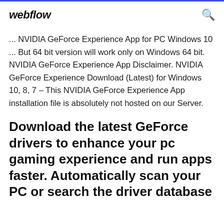webflow
... NVIDIA GeForce Experience App for PC Windows 10 ... But 64 bit version will work only on Windows 64 bit. NVIDIA GeForce Experience App Disclaimer. NVIDIA GeForce Experience Download (Latest) for Windows 10, 8, 7 – This NVIDIA GeForce Experience App installation file is absolutely not hosted on our Server.
Download the latest GeForce drivers to enhance your pc gaming experience and run apps faster. Automatically scan your PC or search the driver database